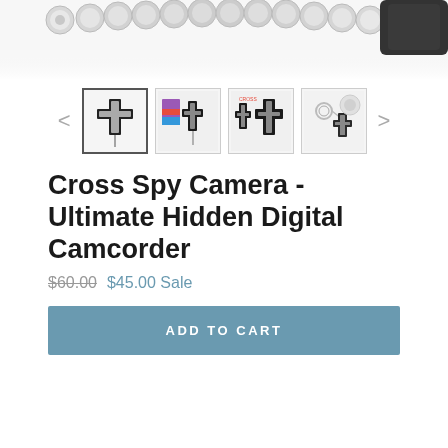[Figure (photo): Top portion of product photo showing metallic beads/ball chain necklace and dark object on white background]
[Figure (photo): Thumbnail gallery showing 4 product images of cross spy camera from different angles with left/right navigation arrows]
Cross Spy Camera - Ultimate Hidden Digital Camcorder
$60.00  $45.00 Sale
ADD TO CART